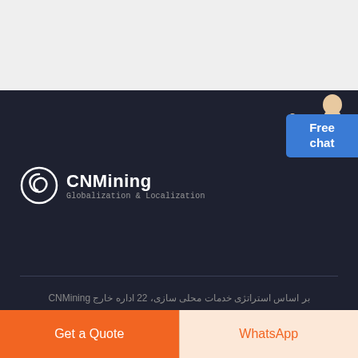[Figure (screenshot): Light gray top bar area placeholder]
[Figure (screenshot): Dark navy background section with CNMining logo, Free chat button with person figure, a horizontal divider line, and partial Farsi/Arabic text at the bottom]
Free chat
CNMining Globalization & Localization
بر اساس استراتژی خدمات محلی سازی، 22 اداره خارج CNMining
Get a Quote
WhatsApp